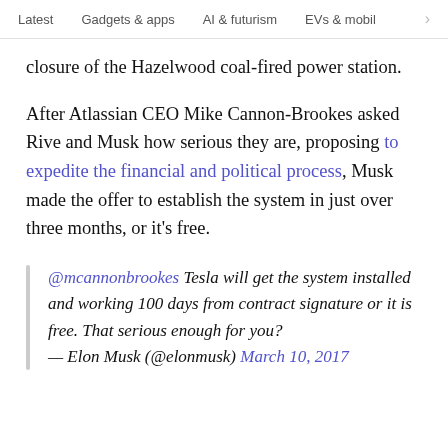Latest   Gadgets & apps   AI & futurism   EVs & mobil  >
closure of the Hazelwood coal-fired power station.
After Atlassian CEO Mike Cannon-Brookes asked Rive and Musk how serious they are, proposing to expedite the financial and political process, Musk made the offer to establish the system in just over three months, or it's free.
@mcannonbrookes Tesla will get the system installed and working 100 days from contract signature or it is free. That serious enough for you? — Elon Musk (@elonmusk) March 10, 2017